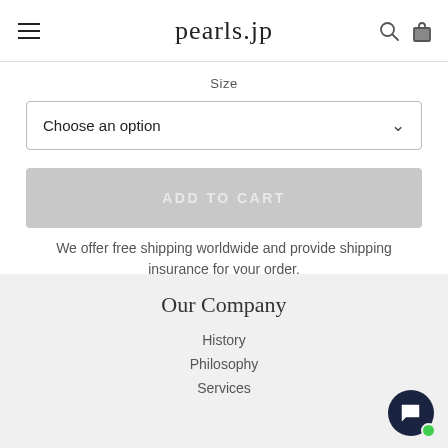pearls.jp
Size
Choose an option
ADD TO CART
We offer free shipping worldwide and provide shipping insurance for your order.
Our Company
History
Philosophy
Services